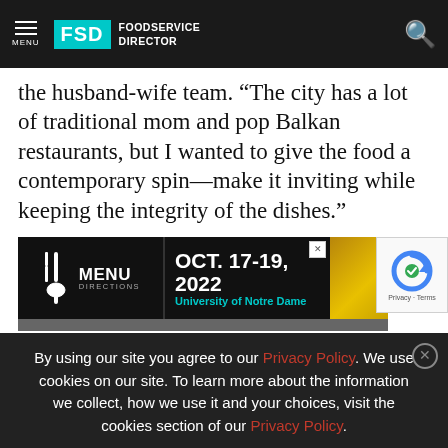MENU | FSD FOODSERVICE DIRECTOR
the husband-wife team. “The city has a lot of traditional mom and pop Balkan restaurants, but I wanted to give the food a contemporary spin—make it inviting while keeping the integrity of the dishes.”
[Figure (screenshot): Advertisement banner for Menu Directions event, OCT. 17-19, 2022, University of Notre Dame, with gold background on right side and close button]
[Figure (screenshot): reCAPTCHA widget with Privacy - Terms text]
By using our site you agree to our Privacy Policy. We use cookies on our site. To learn more about the information we collect, how we use it and your choices, visit the cookies section of our Privacy Policy.